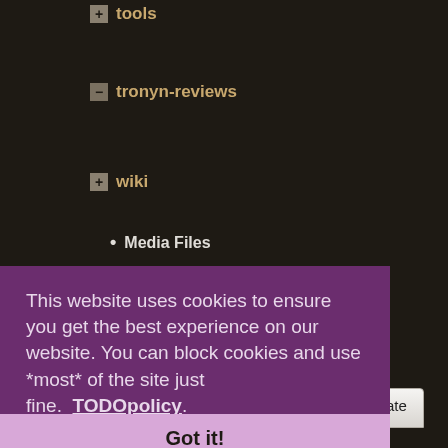tools
tronyn-reviews
wiki
Media Files
Upload
Search
Files in tronyn-reviews
[Figure (screenshot): Tab bar with Thumbnails, Rows, Name, Date tabs]
This website uses cookies to ensure you get the best experience on our website. You can block cookies and use *most* of the site just fine.  TODOpolicy
Got it!
0ad_1.jpg
1000×500
2018/01/22 10:12
153.2 KB